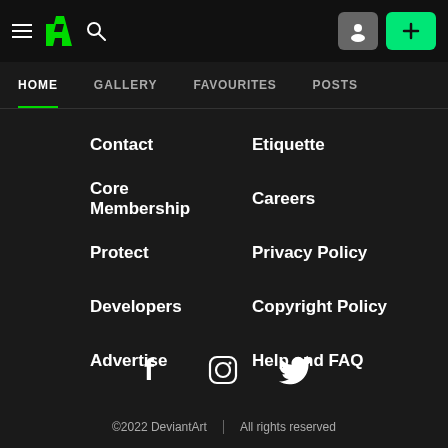Navigation bar with hamburger menu, DeviantArt logo, search icon, user icon, and + button
HOME (active tab)
GALLERY
FAVOURITES
POSTS
Contact
Etiquette
Core Membership
Careers
Protect
Privacy Policy
Developers
Copyright Policy
Advertise
Help and FAQ
[Figure (infographic): Social media icons: Facebook (f), Instagram (circle with square), Twitter (bird)]
©2022 DeviantArt | All rights reserved